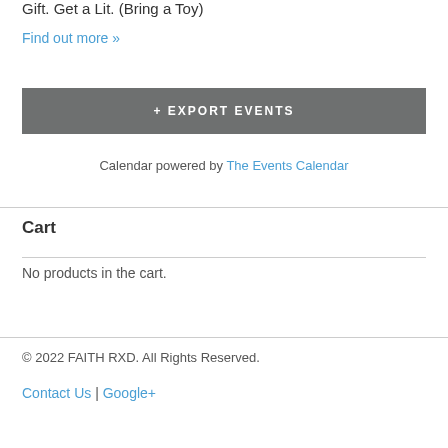Gift. Get a Lil. (Bring a Toy)
Find out more »
+ EXPORT EVENTS
Calendar powered by The Events Calendar
Cart
No products in the cart.
© 2022 FAITH RXD. All Rights Reserved.
Contact Us | Google+